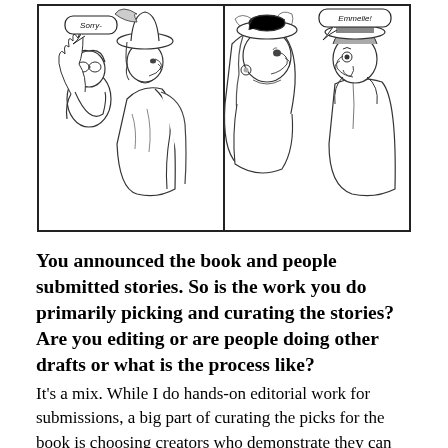[Figure (illustration): A two-panel black and white comic strip. Left panel shows a person with glasses raising their hand saying 'Sorry-' and a tall woman in a decorative hat facing them. Right panel shows the woman speaking with 'Emmelie!' in a speech bubble, and a man in a bowler hat looking shocked.]
You announced the book and people submitted stories. So is the work you do primarily picking and curating the stories? Are you editing or are people doing other drafts or what is the process like?
It's a mix. While I do hands-on editorial work for submissions, a big part of curating the picks for the book is choosing creators who demonstrate they can handle the story they